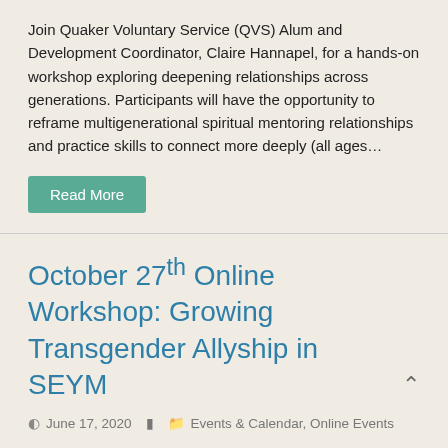Join Quaker Voluntary Service (QVS) Alum and Development Coordinator, Claire Hannapel, for a hands-on workshop exploring deepening relationships across generations. Participants will have the opportunity to reframe multigenerational spiritual mentoring relationships and practice skills to connect more deeply (all ages...
Read More
October 27th Online Workshop: Growing Transgender Allyship in SEYM
June 17, 2020   Events & Calendar, Online Events
Participants will be asked to identify their transgender ally goals and explore our their own barriers to engaging in trans